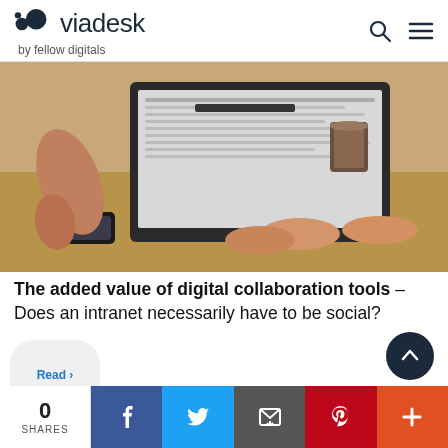[Figure (logo): Viadesk logo with two overlapping circles and text 'viadesk by fellow digitals']
[Figure (photo): Person typing on a laptop at a desk with coffee cup and smartphone visible]
The added value of digital collaboration tools – Does an intranet necessarily have to be social?
0 SHARES
[Figure (infographic): Social share bar with Facebook, Twitter, Email, Pinterest and plus buttons]